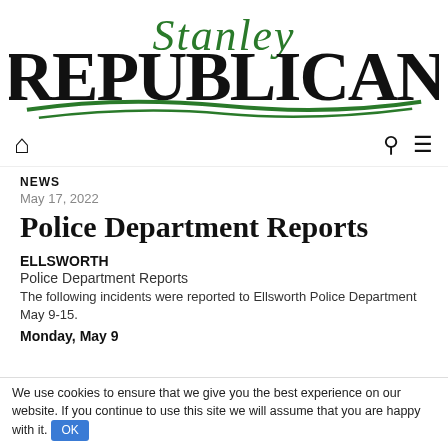[Figure (logo): Stanley Republican newspaper logo with green script 'Stanley' above bold black 'REPUBLICAN' text and green swoosh lines beneath]
[Figure (infographic): Navigation bar with home icon, search icon, and hamburger menu icon]
NEWS
May 17, 2022
Police Department Reports
ELLSWORTH
Police Department Reports
The following incidents were reported to Ellsworth Police Department May 9-15.
Monday, May 9
We use cookies to ensure that we give you the best experience on our website. If you continue to use this site we will assume that you are happy with it. OK